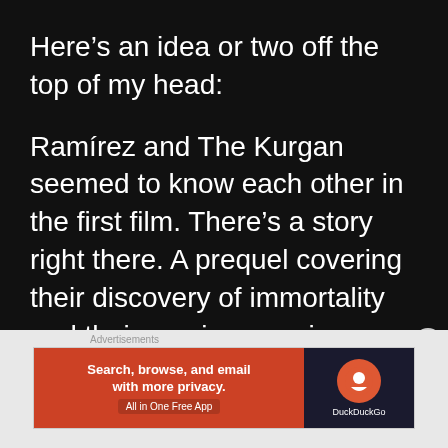Here’s an idea or two off the top of my head:
Ramírez and The Kurgan seemed to know each other in the first film. There’s a story right there. A prequel covering their discovery of immortality and their previous run ins.
A film that takes place along side the original that covers the other immortals.
[Figure (other): DuckDuckGo advertisement banner with text: Search, browse, and email with more privacy. All in One Free App. DuckDuckGo logo on right side.]